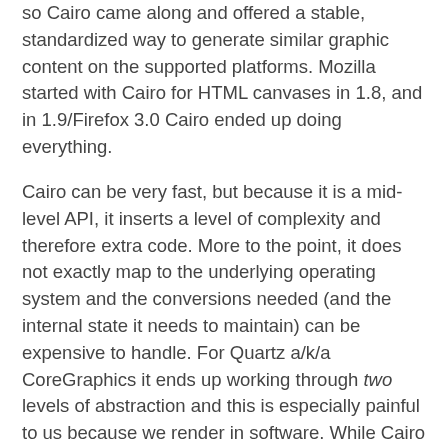so Cairo came along and offered a stable, standardized way to generate similar graphic content on the supported platforms. Mozilla started with Cairo for HTML canvases in 1.8, and in 1.9/Firefox 3.0 Cairo ended up doing everything.
Cairo can be very fast, but because it is a mid-level API, it inserts a level of complexity and therefore extra code. More to the point, it does not exactly map to the underlying operating system and the conversions needed (and the internal state it needs to maintain) can be expensive to handle. For Quartz a/k/a CoreGraphics it ends up working through two levels of abstraction and this is especially painful to us because we render in software. While Cairo made a lot of code simpler, its drawbacks are now unfortunately apparent.
So Azure tries to map closer to the underlying API, which in our case is Quartz/CoreGraphics, and allows primitives and drawing operations that map more directly (in some cases 1 to 1) to the underlying operating system. This allows us to take advantage of whatever hardware acceleration is available to Quartz, but more importantly it lets us get around